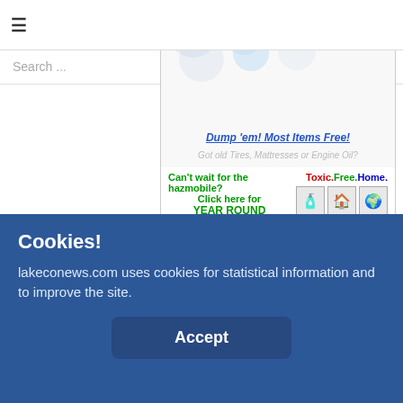≡  Search ...  🔍
[Figure (infographic): Hazardous waste disposal advertisement banner. Top section shows globe/earth icons and italic text 'Click Here for details' and 'Got old Tires, Mattresses or Engine Oil?'. Middle section shows bold blue italic underlined text 'Dump 'em! Most Items Free!' followed by green bold text 'Can't wait for the hazmobile? Click here for YEAR ROUND USED OIL & FILTER DROP OFF'. Right side shows 'Toxic.Free.Home.' logo with three icon boxes. Bottom line: '* Businesses must schedule appointment and fees apply'.]
[Figure (infographic): Loan Savings banner advertisement with gradient gray background and red border, showing bold white text 'Loan Savings'.]
Cookies!
lakeconews.com uses cookies for statistical information and to improve the site.
Accept